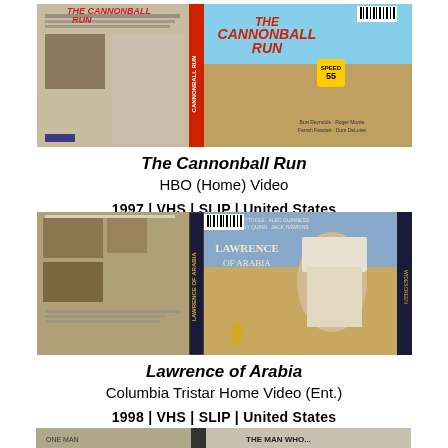[Figure (photo): VHS tape cover for The Cannonball Run, HBO Home Video release, showing front and back of the VHS case with movie artwork]
The Cannonball Run
HBO (Home) Video
1997 | VHS | SLIP | United States
[Figure (photo): VHS tape cover for Lawrence of Arabia, Columbia Tristar Home Video release, showing front and back of the VHS case with movie artwork]
Lawrence of Arabia
Columbia Tristar Home Video (Ent.)
1998 | VHS | SLIP | United States
[Figure (photo): Partial view of a third VHS tape cover at the bottom of the page]